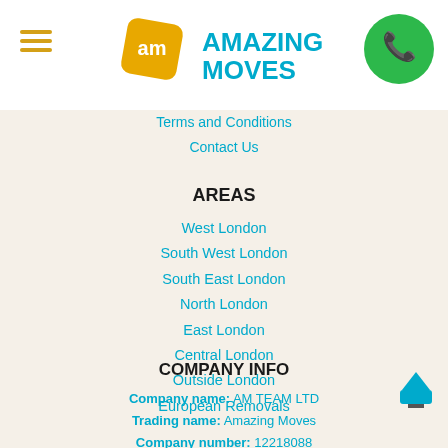[Figure (logo): Amazing Moves logo with yellow diamond 'am' icon and teal 'AMAZING MOVES' text]
Terms and Conditions
Contact Us
AREAS
West London
South West London
South East London
North London
East London
Central London
Outside London
European Removals
COMPANY INFO
Company name: AM TEAM LTD
Trading name: Amazing Moves
Company number: 12218088
Telephone: 020 3970 0488
Opening Hours: Monday to Sunday, 07:00-00:00